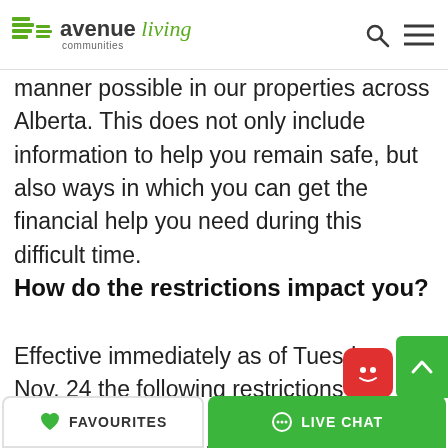avenue living communities
manner possible in our properties across Alberta. This does not only include information to help you remain safe, but also ways in which you can get the financial help you need during this difficult time.
How do the restrictions impact you?
Effective immediately as of Tuesday, Nov. 24 the following restrictions are placed upon the who b re